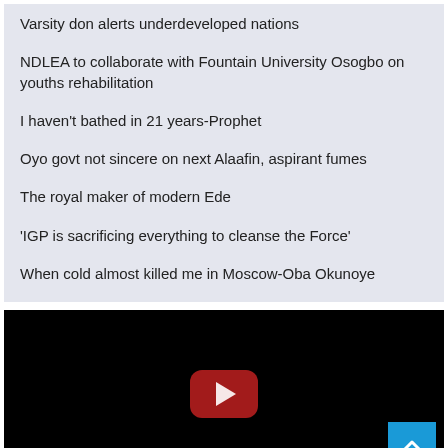Varsity don alerts underdeveloped nations
NDLEA to collaborate with Fountain University Osogbo on youths rehabilitation
I haven't bathed in 21 years-Prophet
Oyo govt not sincere on next Alaafin, aspirant fumes
The royal maker of modern Ede
'IGP is sacrificing everything to cleanse the Force'
When cold almost killed me in Moscow-Oba Okunoye
[Figure (screenshot): Black video player panel with YouTube play button in center and blue back-to-top arrow button at bottom right]